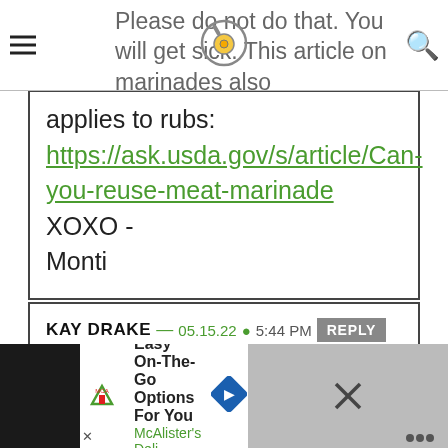Please do not do that. You will get sick. This article on marinades also
applies to rubs: https://ask.usda.gov/s/article/Can-you-reuse-meat-marinade XOXO - Monti
KAY DRAKE — 05.15.22 @ 5:44 PM REPLY
Thanks for the update on produce.
[Figure (infographic): Advertisement banner: Easy On-The-Go Options For You, McAlister's Deli]